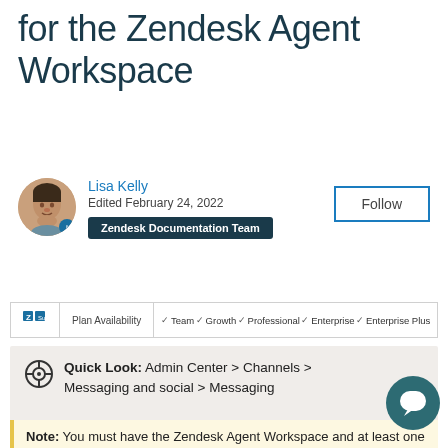for the Zendesk Agent Workspace
[Figure (photo): Circular avatar photo of Lisa Kelly, a woman, with a blue badge icon overlay at bottom right]
Lisa Kelly
Edited February 24, 2022
Zendesk Documentation Team
Follow
Plan Availability   ✓ Team   ✓ Growth   ✓ Professional   ✓ Enterprise   ✓ Enterprise Plus
Quick Look:  Admin Center > Channels > Messaging and social > Messaging
Note: You must have the Zendesk Agent Workspace and at least one web or social messaging channel enabled to